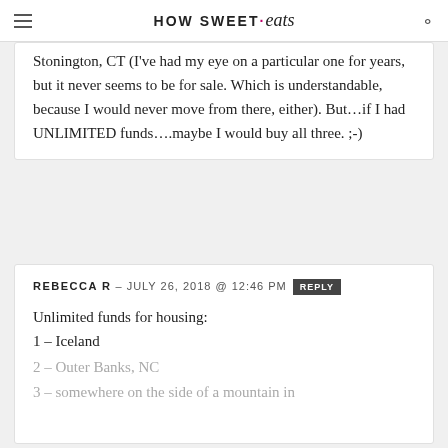HOW SWEET eats
Stonington, CT (I've had my eye on a particular one for years, but it never seems to be for sale. Which is understandable, because I would never move from there, either). But...if I had UNLIMITED funds....maybe I would buy all three. ;-)
REBECCA R — JULY 26, 2018 @ 12:46 PM  REPLY
Unlimited funds for housing:
1 – Iceland
2 – Outer Banks, NC
3 – somewhere on the side of a mountain in